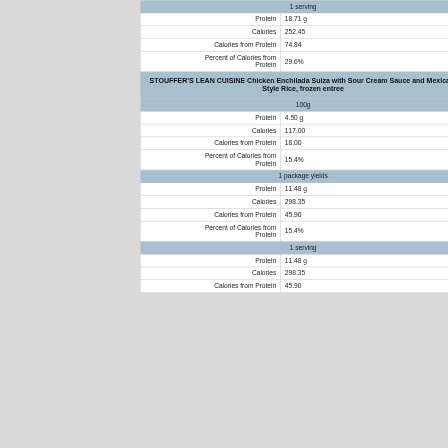| Nutrient | Value |
| --- | --- |
| 1 serving |  |
| Protein | 18.71 g |
| Calories | 252.45 |
| Calories from Protein | 74.84 |
| Percent of Calories from Protein | 29.6% |
| STOUFFER'S LEAN CUISINE Chicken Enchilada Suiza with Sour Cream Sauce and Mexican-Style Rice, frozen entree |  |
| 100g |  |
| Protein | 4.50 g |
| Calories | 117.00 |
| Calories from Protein | 18.00 |
| Percent of Calories from Protein | 15.4% |
| 1 package yields |  |
| Protein | 11.48 g |
| Calories | 298.35 |
| Calories from Protein | 45.90 |
| Percent of Calories from Protein | 15.4% |
| 1 serving |  |
| Protein | 11.48 g |
| Calories | 298.35 |
| Calories from Protein | 45.90 |